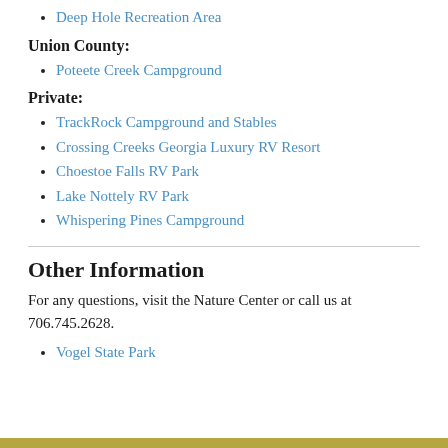Deep Hole Recreation Area
Union County:
Poteete Creek Campground
Private:
TrackRock Campground and Stables
Crossing Creeks Georgia Luxury RV Resort
Choestoe Falls RV Park
Lake Nottely RV Park
Whispering Pines Campground
Other Information
For any questions, visit the Nature Center or call us at 706.745.2628.
Vogel State Park